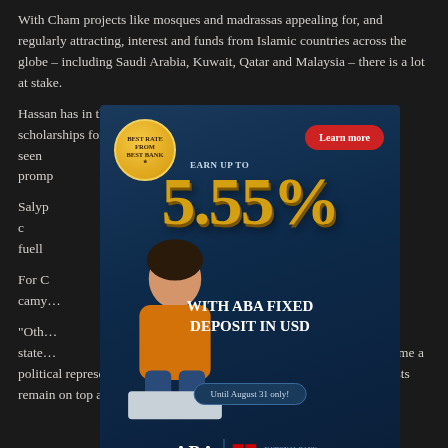With Cham projects like mosques and madrassas appealing for, and regularly attracting, interest and funds from Islamic countries across the globe – including Saudi Arabia, Kuwait, Qatar and Malaysia – there is a lot at stake.
Hassan has in the past personally appealed to Saudi Arabia to fund scholarships for Cham students, as indicated in a letter seen… …to prompt… …lies in need of me…
Salyp… …squies. The two c… …ts only fuell… …est in the road…
For C… …utbreaks camy…
"Oth… …did a state… …e joined the CPP or became a political representative of the Cham community. Thus, business interests remain on top and are used to support his political interests."
[Figure (infographic): ABA Bank advertisement overlay showing a gold '5.55%' interest rate for ABA Fixed Deposit in USD, with a badge reading 'BEST RATE FROM BEST BANK', a red 'Learn more' button, a woman sitting on a box smiling, 'Until August 31 only!' text, and ABA / National Bank of Canada Group logo at the bottom.]